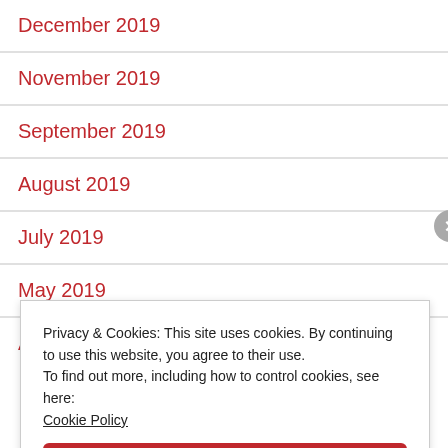December 2019
November 2019
September 2019
August 2019
July 2019
May 2019
April 2019
Privacy & Cookies: This site uses cookies. By continuing to use this website, you agree to their use.
To find out more, including how to control cookies, see here:
Cookie Policy
Close and accept